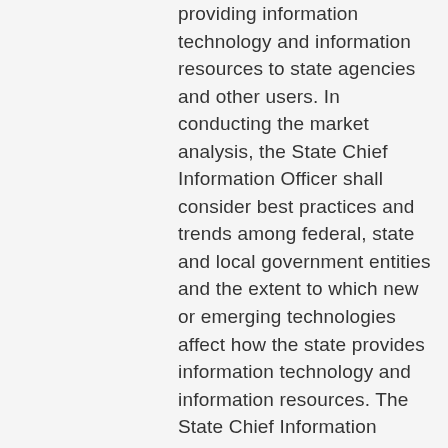providing information technology and information resources to state agencies and other users. In conducting the market analysis, the State Chief Information Officer shall consider best practices and trends among federal, state and local government entities and the extent to which new or emerging technologies affect how the state provides information technology and information resources. The State Chief Information Officer shall provide the results of the analysis to the Governor and to the Joint Legislative Committee on Information Management and